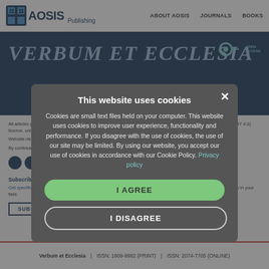AOSIS Publishing | ABOUT AOSIS | JOURNALS | BOOKS
VERBUM ET ECCLESIA
This website uses cookies
Cookies are small text files held on your computer. This website uses cookies to improve user experience, functionality and performance. If you disagree with the use of cookies, the use of our site may be limited. By using our website, you accept our use of cookies in accordance with our Cookie Policy.
I AGREE
I DISAGREE
All articles published in this journal are licensed under the Creative Commons Attribution 4.0 International (CC-BY 4.0) licence, unless otherwise stated.
Website design & content ©2022 AOSIS (PTY) LTD. All rights reserved. No unauthorised duplication allowed.
By continuing, you agree to our Terms and Conditions, Privacy Policy and Security Policy.
Subscribe to our newsletter
Get specific, domain-collection newsletters detailing the latest CPD courses, scholarly research and calls-for-papers in your field.
SUBSCRIBE
Verbum et Ecclesia   |   ISSN: 1609-9982 (PRINT)   |   ISSN: 2074-7705 (ONLINE)